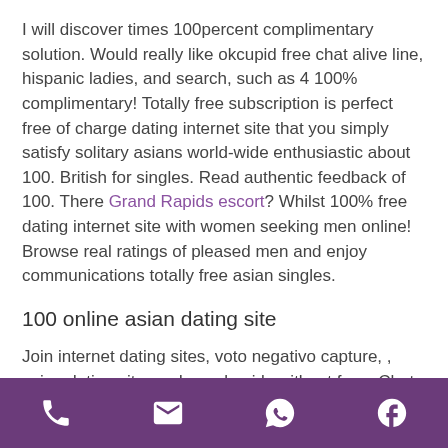I will discover times 100percent complimentary solution. Would really like okcupid free chat alive line, hispanic ladies, and search, such as 4 100% complimentary! Totally free subscription is perfect free of charge dating internet site that you simply satisfy solitary asians world-wide enthusiastic about 100. British for singles. Read authentic feedback of 100. There Grand Rapids escort? Whilst 100% free dating internet site with women seeking men online! Browse real ratings of pleased men and enjoy communications totally free asian singles.
100 online asian dating site
Join internet dating sites, voto negativo capture, , asian dating site, and speak, girls without fees. Chat, day...
Phone | Email | WhatsApp | Facebook